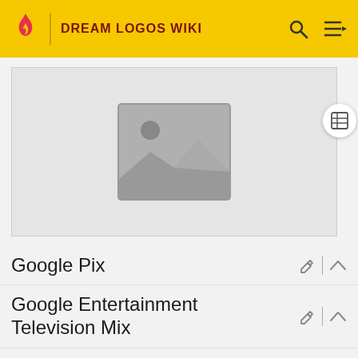DREAM LOGOS WIKI
[Figure (photo): Image placeholder with grey background showing a generic image icon (mountain and sun placeholder)]
Google Pix
Google Entertainment Television Mix
Cine Google Television
Jollibee Sci-Fi